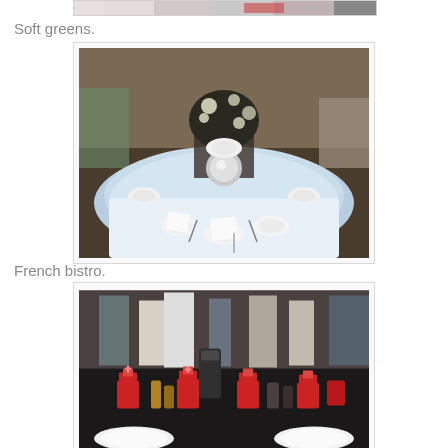[Figure (photo): Partial view of people at a table, cropped at top of page]
Soft greens.
[Figure (photo): Elegantly set round banquet table with light blue tablecloth and floral centerpiece]
French bistro.
[Figure (photo): French bistro themed table setting with red and black decorations and gift bags]